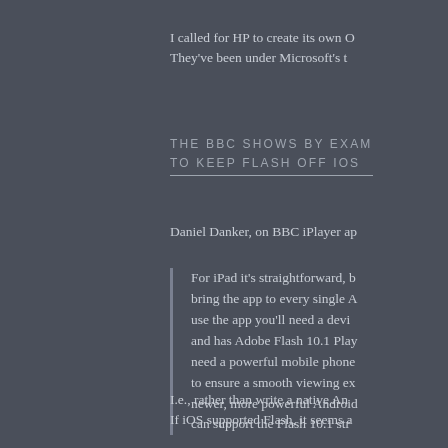I called for HP to create its own O
They've been under Microsoft's t
THE BBC SHOWS BY EXAM
TO KEEP FLASH OFF IOS
Daniel Danker, on BBC iPlayer ap
For iPad it's straightforward, b
bring the app to every single A
use the app you'll need a devi
and has Adobe Flash 10.1 Play
need a powerful mobile phone
to ensure a smooth viewing ex
newer, more powerful Android
can support the Flash 10.1 str
I.e., rather than write a native An
If iOS supported Flash, it seems a